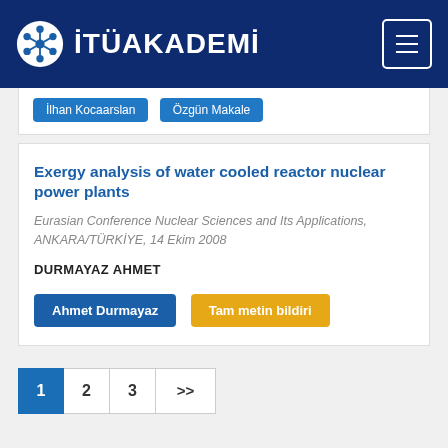İTÜAKADEMİ
İlhan Kocaarslan | Özgün Makale
Exergy analysis of water cooled reactor nuclear power plants
Eurasian Conference Nuclear Sciences and Its Applications, ANKARA/TÜRKİYE, 14 Ekim 2008
DURMAYAZ AHMET
Ahmet Durmayaz | Tam metin bildiri
1  2  3  >>